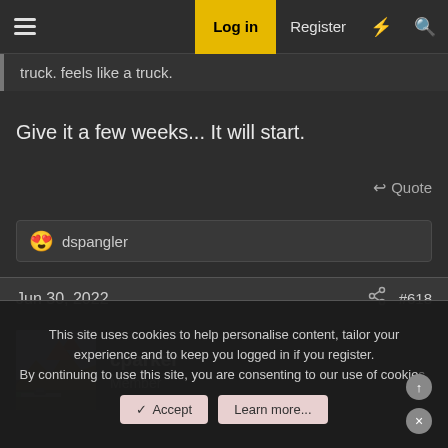≡  Log in  Register  ⚡  🔍
truck. feels like a truck.
Give it a few weeks... It will start.
Quote
😍 dspangler
Jun 30, 2022  #618
cparker
Member
This site uses cookies to help personalise content, tailor your experience and to keep you logged in if you register.
By continuing to use this site, you are consenting to our use of cookies.
✓ Accept   Learn more...